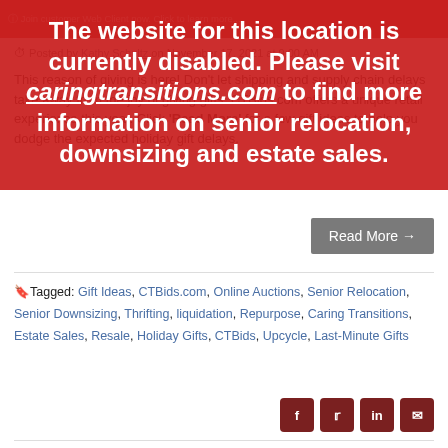The website for this location is currently disabled. Please visit caringtransitions.com to find more information on senior relocation, downsizing and estate sales.
Posted by Kathy Schultz on November 17, 2021 at 9:00 AM
This reason of giving is here! Don't let shipping and supply chain delays take away from the joy of giving gifts. CTBids.com offers a unique retail experience this year. Click 'Read More' for a few gift ideas to help you dodge the expected holiday gift delays.
Read More →
Tagged: Gift Ideas, CTBids.com, Online Auctions, Senior Relocation, Senior Downsizing, Thrifting, liquidation, Repurpose, Caring Transitions, Estate Sales, Resale, Holiday Gifts, CTBids, Upcycle, Last-Minute Gifts